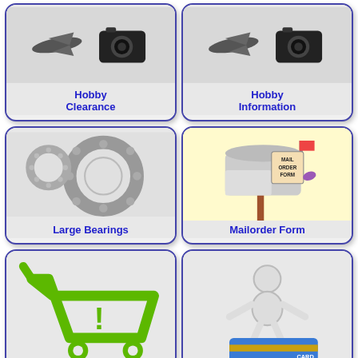[Figure (illustration): Hobby clearance card with toy airplane and camera icon on grey background, labeled Hobby Clearance in blue]
[Figure (illustration): Hobby information card with toy airplane and camera icon on grey background, labeled Hobby Information in blue]
[Figure (illustration): Large Bearings card with ball bearings image on grey background, labeled Large Bearings in blue]
[Figure (illustration): Mailorder Form card with mailbox illustration on yellow background, labeled Mailorder Form in blue]
[Figure (illustration): Shopping cart icon in green on grey background, partially visible]
[Figure (illustration): 3D figure standing on credit card on grey background, partially visible]